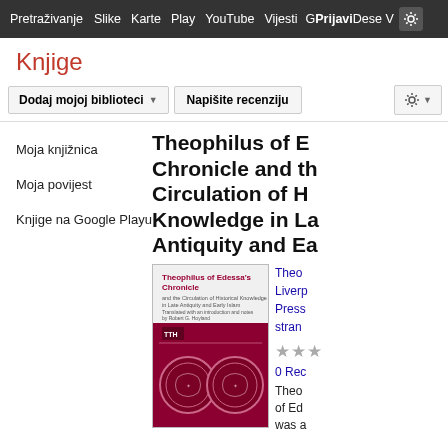Pretraživanje Slike Karte Play YouTube Vijesti Gr Prijavi se Više V ⚙
Knjige
Dodaj mojoj biblioteci ▼   Napišite recenziju   ⚙ ▼
Moja knjižnica
Moja povijest
Knjige na Google Playu
Theophilus of E Chronicle and th Circulation of H Knowledge in La Antiquity and Ea
[Figure (illustration): Book cover of 'Theophilus of Edessa's Chronicle' with dark red/maroon background showing two coins at the bottom]
Theo Liverpool Press stran
★★★
0 Rec
Theo of Ed was a